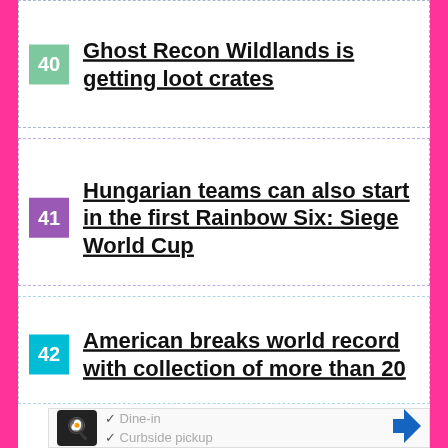40 Ghost Recon Wildlands is getting loot crates
41 Hungarian teams can also start in the first Rainbow Six: Siege World Cup
42 American breaks world record with collection of more than 20
[Figure (other): Advertisement with restaurant logo, Dine-in and Curbside pickup checkmarks, and a blue diamond navigation arrow icon]